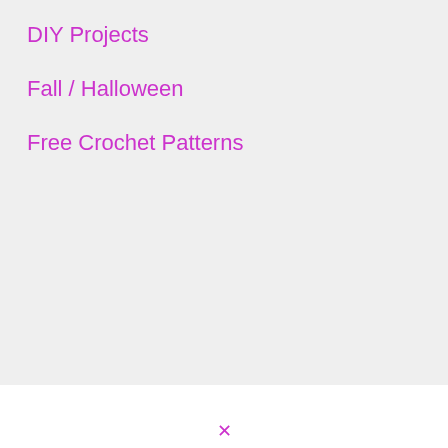DIY Projects
Fall / Halloween
Free Crochet Patterns